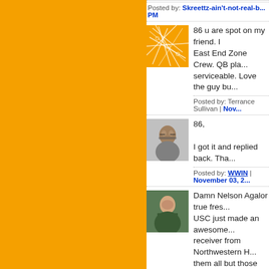Posted by: Skreettz-ain't-not-real-b... PM
[Figure (photo): Orange/yellow abstract network pattern avatar]
86 u are spot on my friend. I... East End Zone Crew. QB pla... serviceable. Love the guy bu...
Posted by: Terrance Sullivan | Nov...
[Figure (photo): Photo of a man with hand on head]
86,

I got it and replied back. Tha...
Posted by: WWIN | November 03, 2...
[Figure (photo): Photo of a young man in green jersey]
Damn Nelson Agalor true fres... USC just made an awesome... receiver from Northwestern H... them all but those two would...
Posted by: tjl3909 | Novembe...
That #21 from USC would've... sniffed that kid during recruiti...